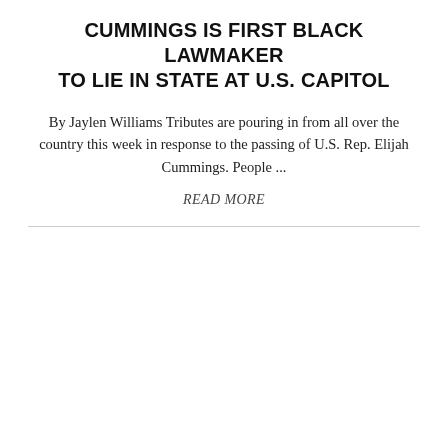CUMMINGS IS FIRST BLACK LAWMAKER TO LIE IN STATE AT U.S. CAPITOL
By Jaylen Williams Tributes are pouring in from all over the country this week in response to the passing of U.S. Rep. Elijah Cummings. People ...
READ MORE